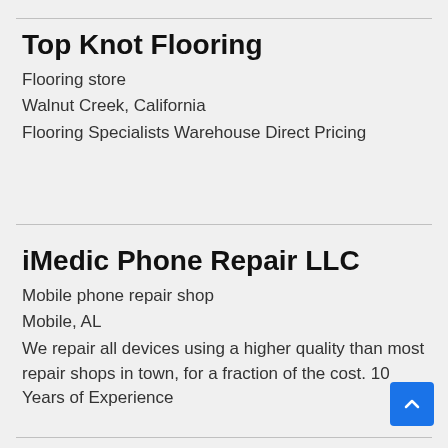Top Knot Flooring
Flooring store
Walnut Creek, California
Flooring Specialists Warehouse Direct Pricing
iMedic Phone Repair LLC
Mobile phone repair shop
Mobile, AL
We repair all devices using a higher quality than most repair shops in town, for a fraction of the cost. 10 Years of Experience